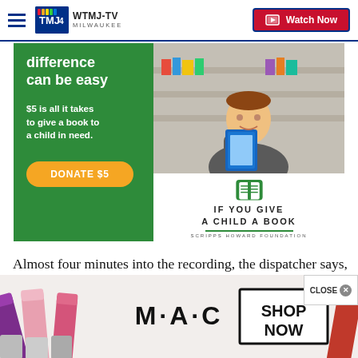WTMJ-TV MILWAUKEE — Watch Now
[Figure (infographic): Scripps Howard Foundation 'If You Give a Child a Book' donation ad. Green background with text 'difference can be easy', '$5 is all it takes to give a book to a child in need.', orange DONATE $5 button. Right side shows photo of child holding a book and the foundation branding.]
Almost four minutes into the recording, the dispatcher says, "Radar contact has been lost."
[Figure (photo): MAC cosmetics advertisement banner showing lipsticks and SHOP NOW button.]